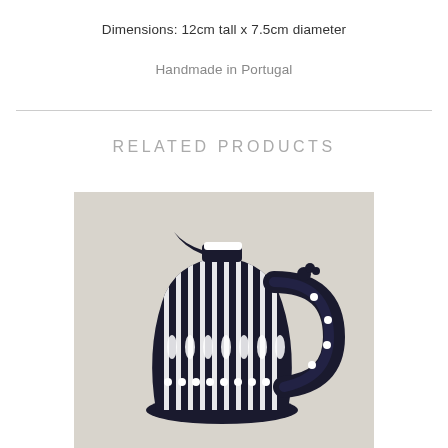Dimensions: 12cm tall x 7.5cm diameter
Handmade in Portugal
RELATED PRODUCTS
[Figure (photo): A black and white striped ceramic pitcher/jug with polka dot decorations and a dark handle, handmade Portuguese pottery]